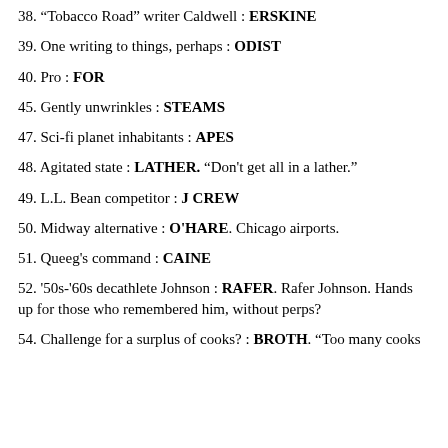38. "Tobacco Road" writer Caldwell : ERSKINE
39. One writing to things, perhaps : ODIST
40. Pro : FOR
45. Gently unwrinkles : STEAMS
47. Sci-fi planet inhabitants : APES
48. Agitated state : LATHER. "Don't get all in a lather."
49. L.L. Bean competitor : J CREW
50. Midway alternative : O'HARE. Chicago airports.
51. Queeg's command : CAINE
52. '50s-'60s decathlete Johnson : RAFER. Rafer Johnson. Hands up for those who remembered him, without perps?
54. Challenge for a surplus of cooks? : BROTH. "Too many cooks